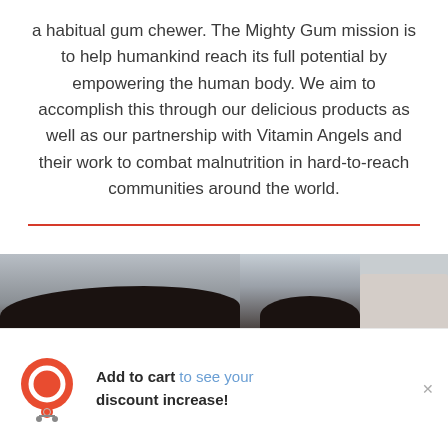a habitual gum chewer. The Mighty Gum mission is to help humankind reach its full potential by empowering the human body. We aim to accomplish this through our delicious products as well as our partnership with Vitamin Angels and their work to combat malnutrition in hard-to-reach communities around the world.
[Figure (photo): A cropped photo showing the tops of two people's heads with dark hair, in what appears to be a kitchen or indoor setting. The right portion shows a light-colored container or appliance.]
Add to cart to see your discount increase!